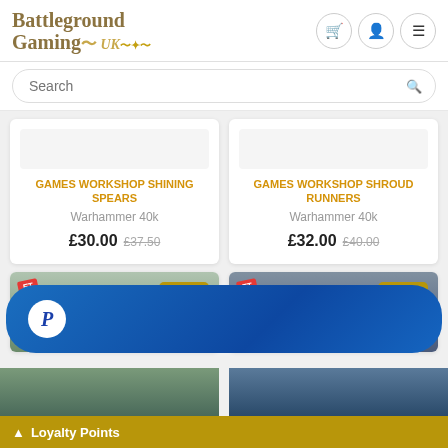Battleground Gaming UK
Search
GAMES WORKSHOP SHINING SPEARS
Warhammer 40k
£30.00  £37.50
GAMES WORKSHOP SHROUD RUNNERS
Warhammer 40k
£32.00  £40.00
Loyalty Points